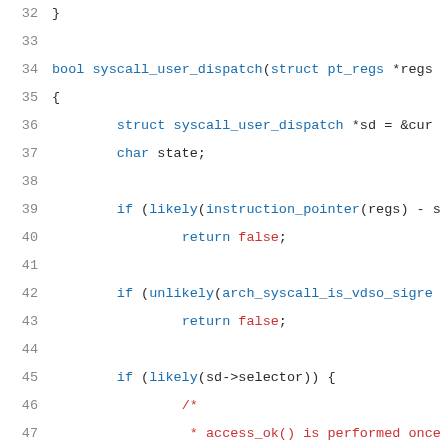32  }
33
34  bool syscall_user_dispatch(struct pt_regs *regs
35  {
36    struct syscall_user_dispatch *sd = &cur
37    char state;
38
39    if (likely(instruction_pointer(regs) - s
40      return false;
41
42    if (unlikely(arch_syscall_is_vdso_sigre
43      return false;
44
45    if (likely(sd->selector)) {
46      /*
47       * access_ok() is performed once
48       * the selector is loaded by use
49       */
50      if (unlikely(__get_user(state, s
51        do_exit(SIGSEGV);
52